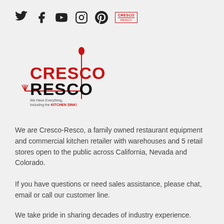[Figure (logo): Social media icons: Twitter, Facebook, YouTube, Instagram, Pinterest, and Cresco-Resco mini logo]
[Figure (logo): Cresco-Resco logo with red CRESCO text, black RESCO text, vertical red line with spoon on top, horizontal line with fork, tagline 'We Have Everything, Including the KITCHEN SINK!']
We are Cresco-Resco, a family owned restaurant equipment and commercial kitchen retailer with warehouses and 5 retail stores open to the public across California, Nevada and Colorado.
If you have questions or need sales assistance, please chat, email or call our customer line.
We take pride in sharing decades of industry experience.